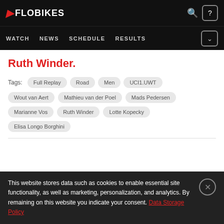FLOBIKES — WATCH  NEWS  SCHEDULE  RESULTS
Ruth Winder.
Tags:  Full Replay  Road  Men  UCI1.UWT  Wout van Aert  Mathieu van der Poel  Mads Pedersen  Marianne Vos  Ruth Winder  Lotte Kopecky  Elisa Longo Borghini
This website stores data such as cookies to enable essential site functionality, as well as marketing, personalization, and analytics. By remaining on this website you indicate your consent. Data Storage Policy